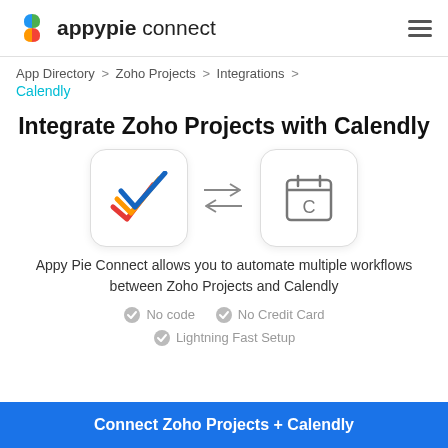appypie connect
App Directory > Zoho Projects > Integrations > Calendly
Integrate Zoho Projects with Calendly
[Figure (illustration): Two app icons side by side: Zoho Projects checkmark icon and Calendly calendar icon, with bidirectional arrows between them]
Appy Pie Connect allows you to automate multiple workflows between Zoho Projects and Calendly
No code
No Credit Card
Lightning Fast Setup
Connect Zoho Projects + Calendly